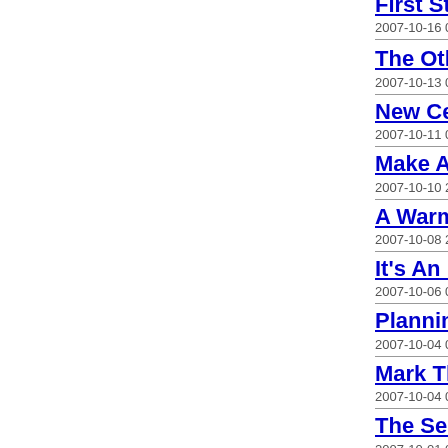First Steps to a New Life
2007-10-16 05:48:39 GMT
The Other Side of the Water Debate
2007-10-13 06:03:43 GMT
New Century, Old Water Wars
2007-10-11 06:04:11 GMT
Make A Note - On Sunday, October 14
2007-10-10 23:38:56 GMT
A Warm & Fuzzy Weekend
2007-10-08 21:48:52 GMT
It's An Election Year in Livermore
2007-10-06 05:17:25 GMT
Planning for "Relay", 2008
2007-10-04 05:30:01 GMT
Mark Those Calendars!
2007-10-04 05:09:29 GMT
The Secrets To Hiking in a Chair...
2007-10-01 05:00:01 GMT
Training...again
2007-09-28 05:21:33 GMT
A Funny Thing Happened On My Way To The Internet...
2007-09-26 06:53:57 GMT